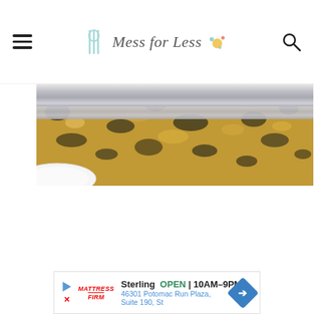Mess for Less — navigation header with hamburger menu and search icon
[Figure (photo): Close-up photo of a granite countertop (yellow/black speckled stone) with a stainless steel sink edge visible, and a white plate partially in frame at the bottom left.]
[Figure (other): Advertisement banner for Mattress Firm showing: Sterling OPEN 10AM-9PM, 46301 Potomac Run Plaza, Suite 190, St]